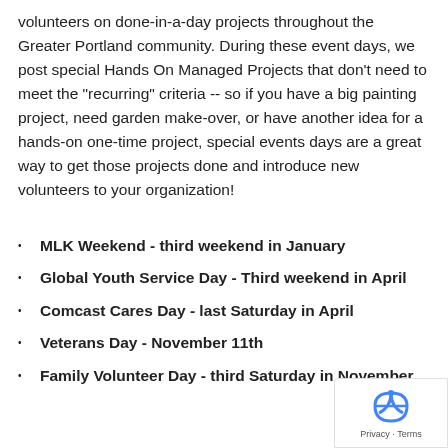volunteers on done-in-a-day projects throughout the Greater Portland community. During these event days, we post special Hands On Managed Projects that don't need to meet the "recurring" criteria -- so if you have a big painting project, need garden make-over, or have another idea for a hands-on one-time project, special events days are a great way to get those projects done and introduce new volunteers to your organization!
MLK Weekend - third weekend in January
Global Youth Service Day - Third weekend in April
Comcast Cares Day - last Saturday in April
Veterans Day - November 11th
Family Volunteer Day - third Saturday in November